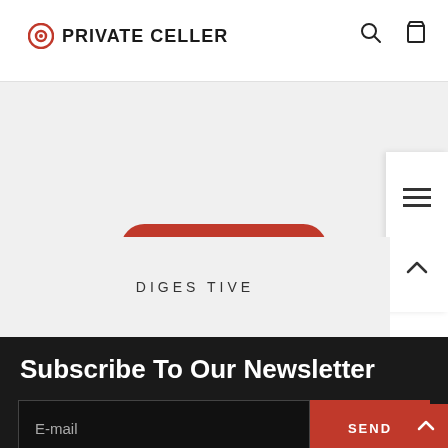PRIVATE CELLER
BEST SELLERS
DIGESTIVE
Subscribe To Our Newsletter
E-mail
SEND